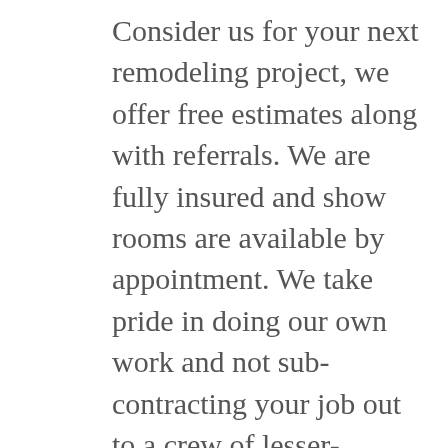Consider us for your next remodeling project, we offer free estimates along with referrals. We are fully insured and show rooms are available by appointment. We take pride in doing our own work and not sub-contracting your job out to a crew of lesser-experienced men.
Our standards of craftsmanship can be clearly seen if you would like to check out some of our work here. Our customer testimonials also reinforce our status in the local community as a top notch kitchen and bath contractor.